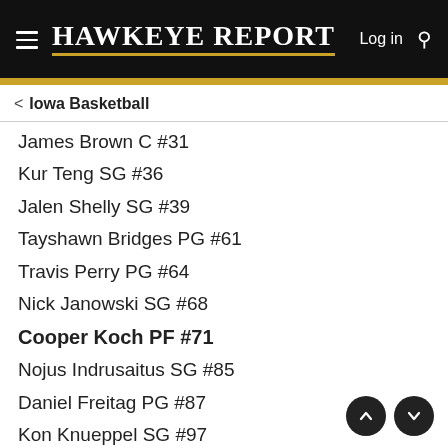Hawkeye Report — Log in
< Iowa Basketball
James Brown C #31
Kur Teng SG #36
Jalen Shelly SG #39
Tayshawn Bridges PG #61
Travis Perry PG #64
Nick Janowski SG #68
Cooper Koch PF #71
Nojus Indrusaitus SG #85
Daniel Freitag PG #87
Kon Knueppel SG #97
Raleigh Burgess PF #120
LaQuintaHawkeye, Franisdaman, NoSwampDonkeys and 1 other person